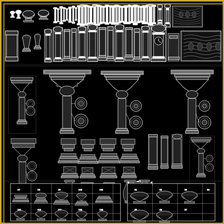[Figure (engineering-diagram): Architectural CAD drawing sheet on black background with gold border, showing multiple classical column and capital details. Top section: elevation views of various classical columns, urns, vases, and decorative architectural elements in white lines on black. Middle section: three detailed cross-section/elevation drawings of classical column capitals with ornate Corinthian or composite capital details, shown in plan and elevation with dimension callouts. Lower middle section: multiple smaller detail drawings of column bases, capitals, and architectural molding profiles arranged in a grid. Bottom section: two detailed technical drawings showing column capital comparisons in grid format with dimension lines.]